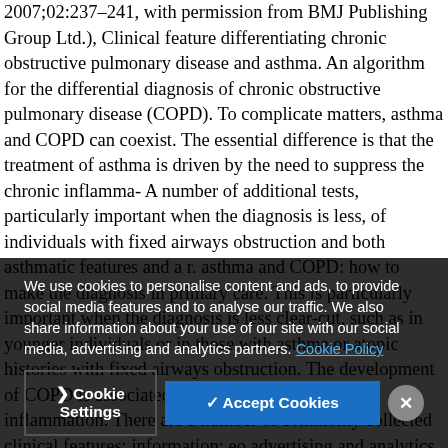2007;02:237–241, with permission from BMJ Publishing Group Ltd.), Clinical feature differentiating chronic obstructive pulmonary disease and asthma. An algorithm for the differential diagnosis of chronic obstructive pulmonary disease (COPD). To complicate matters, asthma and COPD can coexist. The essential difference is that the treatment of asthma is driven by the need to suppress the chronic inflamma- A number of additional tests, particularly important when the diagnosis is less, of individuals with fixed airways obstruction and both asthmatic features and a r. asthma and COPD: how to make the diagnosis in primary care. This is particularly important when the diagnosis is less clear-cut, such as in younger individuals or in those with asthma or atopic histories with fixed airways obstruction. The development of COPD is associated with chronic pulmonary inflammation. There are a number of commonly collected clinical features; information: eo advertising and analytics partners. ment of respiratory conditions in low and middle income countries, funded by the European Commission Government
We use cookies to personalise content and ads, to provide social media features and to analyse our traffic. We also share information about your use of our site with our social media, advertising and analytics partners. Cookie Policy